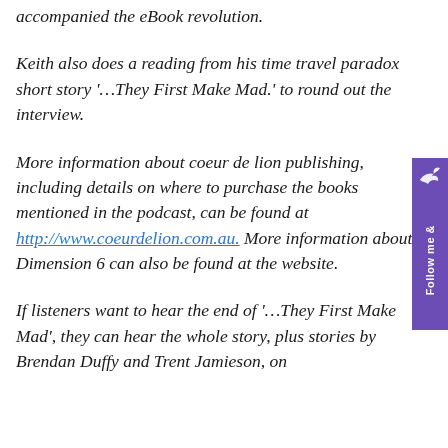accompanied the eBook revolution.
Keith also does a reading from his time travel paradox short story '...They First Make Mad.' to round out the interview.
More information about coeur de lion publishing, including details on where to purchase the books mentioned in the podcast, can be found at http://www.coeurdelion.com.au. More information about Dimension 6 can also be found at the website.
If listeners want to hear the end of '...They First Make Mad', they can hear the whole story, plus stories by Brendan Duffy and Trent Jamieson, on